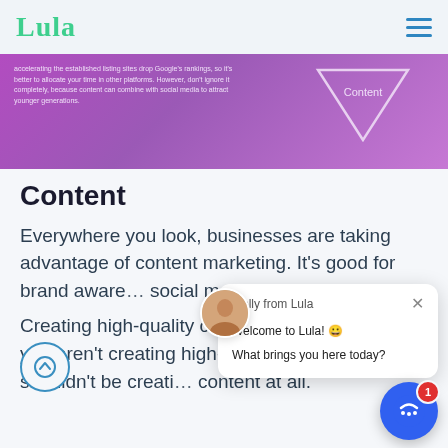Lula
[Figure (screenshot): Purple banner with text about content marketing and a downward triangle labeled 'Content']
Content
Everywhere you look, businesses are taking advantage of content marketing. It's good for brand awareness, social media, and...
Creating high-quality content is time consuming. If you aren't creating high-quality content, you shouldn't be creating content at all.
[Figure (screenshot): Chat popup from Molly from Lula: 'Welcome to Lula! 😀 What brings you here today?']